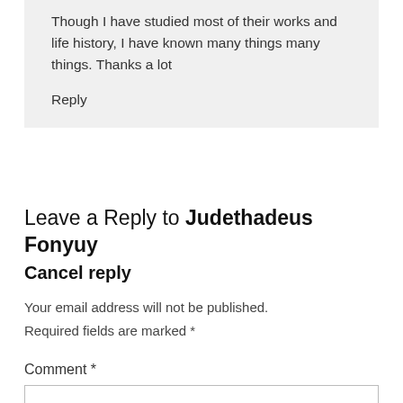Though I have studied most of their works and life history, I have known many things many things. Thanks a lot
Reply
Leave a Reply to Judethadeus Fonyuy Cancel reply
Your email address will not be published. Required fields are marked *
Comment *